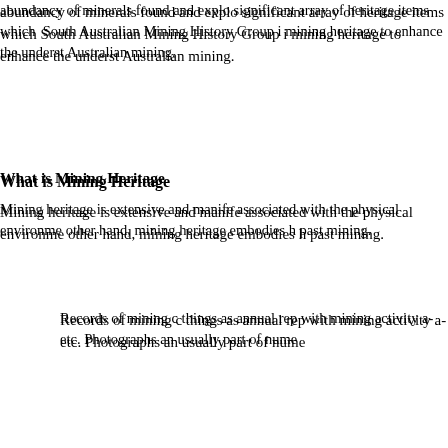abundancy of minerals found and explo... significant array of heritage items which... South Australian Mining History Group i... mining heritage to enhance the underst... Australian mining.
What is Mining Heritage
Mining heritage is extensive and manife... associated with the physical environme... other hand, mining heritage embodies h... past mining.
Records of mining c... things as annual rep... with mining activity a... etc. Photographs an... usually part of nume...
Mining sites contain... mine workings which may be undergrou... surface structures. Structures may be a... and mineral processing, or for administ... items such as picks etc. to large boilers...
The physical eviden... settlements and tra... in remote areas and...
Mining settlements o... directly involved in m... as important as the industrial remains w... mining operation took place.